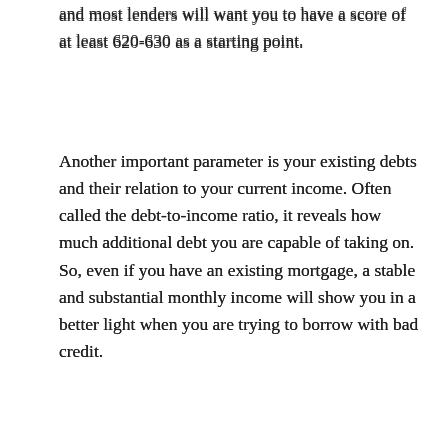and most lenders will want you to have a score of at least 620-630 as a starting point.
Another important parameter is your existing debts and their relation to your current income. Often called the debt-to-income ratio, it reveals how much additional debt you are capable of taking on. So, even if you have an existing mortgage, a stable and substantial monthly income will show you in a better light when you are trying to borrow with bad credit.
In addition to your existing debts, a few lenders may impose a minimum income requirement before they accept your application as well. For instance, they may insist you need an income of at least $2,000 a month to ensure you can pay back the loan.
There are also lenders who will allow you to include a guarantor if your own credit history and income fall short. A guarantor, or co-signer, with a better credit can ensure the payback on your behalf,